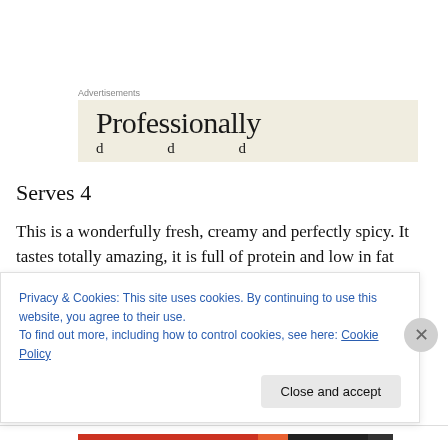Advertisements
[Figure (illustration): Advertisement banner with beige/cream background showing the text 'Professionally' in large serif font and a partially visible second line of text below.]
Serves 4
This is a wonderfully fresh, creamy and perfectly spicy. It tastes totally amazing, it is full of protein and low in fat because I used light coconut milk. The added bonus is, it
Privacy & Cookies: This site uses cookies. By continuing to use this website, you agree to their use.
To find out more, including how to control cookies, see here: Cookie Policy
Close and accept